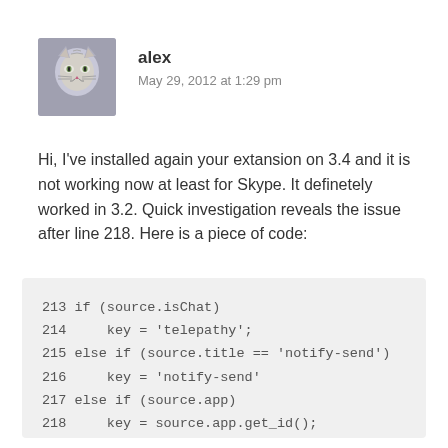[Figure (photo): Avatar image of a cat (gray tabby) used as profile picture for user 'alex']
alex
May 29, 2012 at 1:29 pm
Hi, I've installed again your extansion on 3.4 and it is not working now at least for Skype. It definetely worked in 3.2. Quick investigation reveals the issue after line 218. Here is a piece of code:
213 if (source.isChat)
214     key = 'telepathy';
215 else if (source.title == 'notify-send')
216     key = 'notify-send'
217 else if (source.app)
218     key = source.app.get_id();